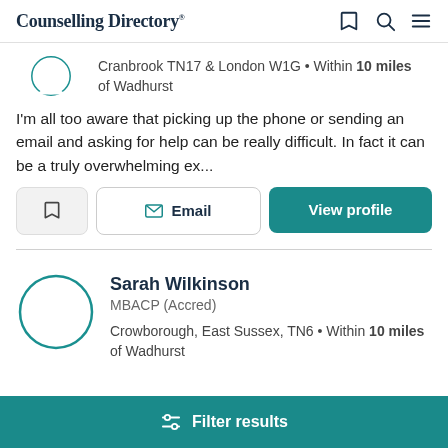Counselling Directory
Cranbrook TN17 & London W1G • Within 10 miles of Wadhurst
I'm all too aware that picking up the phone or sending an email and asking for help can be really difficult. In fact it can be a truly overwhelming ex...
Sarah Wilkinson MBACP (Accred) Crowborough, East Sussex, TN6 • Within 10 miles of Wadhurst
Filter results